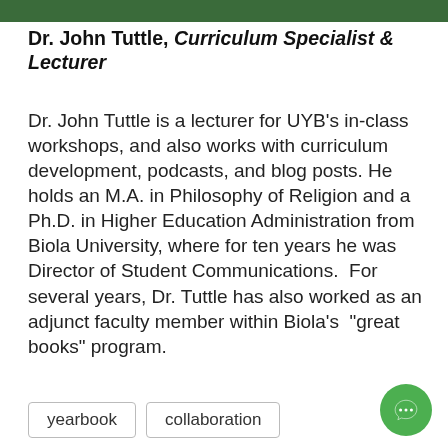[Figure (photo): Top portion of a person's photo (cropped), person wearing a green shirt/background, only partial head visible at top of page]
Dr. John Tuttle, Curriculum Specialist & Lecturer
Dr. John Tuttle is a lecturer for UYB’s in-class workshops, and also works with curriculum development, podcasts, and blog posts. He holds an M.A. in Philosophy of Religion and a Ph.D. in Higher Education Administration from Biola University, where for ten years he was Director of Student Communications.  For several years, Dr. Tuttle has also worked as an adjunct faculty member within Biola’s “great books” program.
yearbook
collaboration